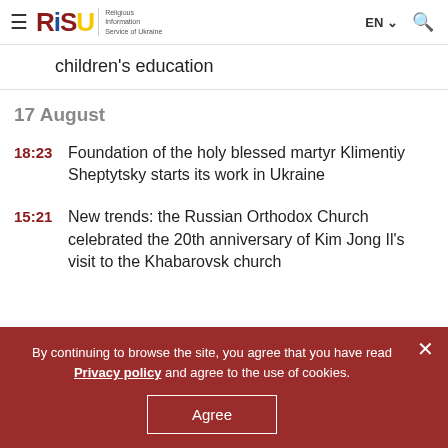RISU — Religious Information Service of Ukraine | EN | Search
children's education
17 August
18:23  Foundation of the holy blessed martyr Klimentiy Sheptytsky starts its work in Ukraine
15:21  New trends: the Russian Orthodox Church celebrated the 20th anniversary of Kim Jong Il's visit to the Khabarovsk church
By continuing to browse the site, you agree that you have read Privacy policy and agree to the use of cookies. Agree